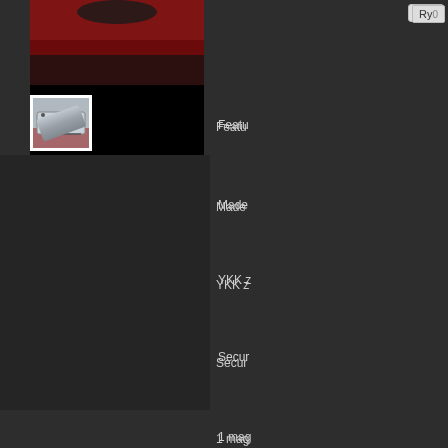[Figure (photo): Main product photo showing a rifle case or bag on a red surface, partially visible at top]
[Figure (photo): Thumbnail image of a grey tactical/rifle bag case lying on a red surface]
[Figure (photo): ATAC color swatch showing tan/coyote colored fabric]
Ryo
Featu
Made
YKK z
Secur
1 mag
Intern
Dime
ATACT
MA
Notes:
apply